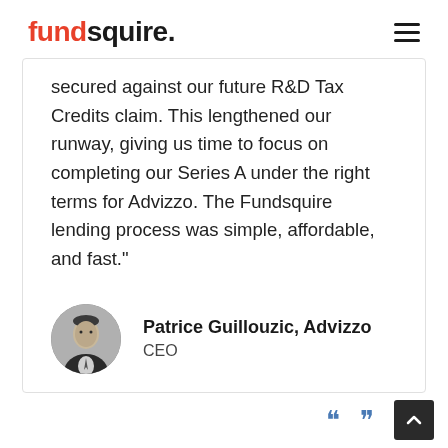fundsquire.
secured against our future R&D Tax Credits claim. This lengthened our runway, giving us time to focus on completing our Series A under the right terms for Advizzo. The Fundsquire lending process was simple, affordable, and fast."
[Figure (photo): Circular headshot of Patrice Guillouzic, a man in a dark suit, black and white photo]
Patrice Guillouzic, Advizzo
CEO